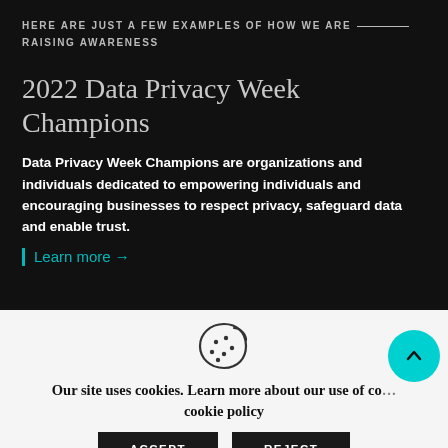HERE ARE JUST A FEW EXAMPLES OF HOW WE ARE RAISING AWARENESS
2022 Data Privacy Week Champions
Data Privacy Week Champions are organizations and individuals dedicated to empowering individuals and encouraging businesses to respect privacy, safeguard data and enable trust.
Learn more →
[Figure (illustration): Cookie icon - a circular cookie with a bite taken out and dots representing chocolate chips]
Our site uses cookies. Learn more about our use of cookies: cookie policy
ACCEPT  REJECT